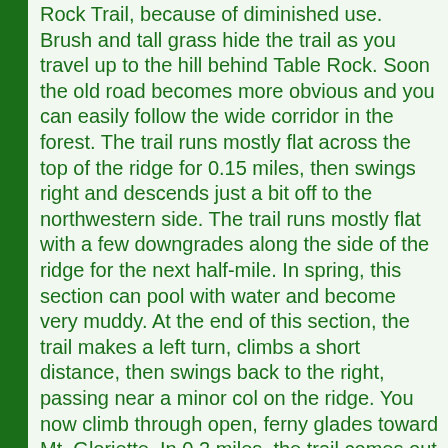Rock Trail, because of diminished use. Brush and tall grass hide the trail as you travel up to the hill behind Table Rock. Soon the old road becomes more obvious and you can easily follow the wide corridor in the forest. The trail runs mostly flat across the top of the ridge for 0.15 miles, then swings right and descends just a bit off to the northwestern side. The trail runs mostly flat with a few downgrades along the side of the ridge for the next half-mile. In spring, this section can pool with water and become very muddy. At the end of this section, the trail makes a left turn, climbs a short distance, then swings back to the right, passing near a minor col on the ridge. You now climb through open, ferny glades toward Mt. Gloriette. In 0.2 miles, the trail comes out into the open on the Connecticut ski trail, one of the slopes in the abandoned Balsams